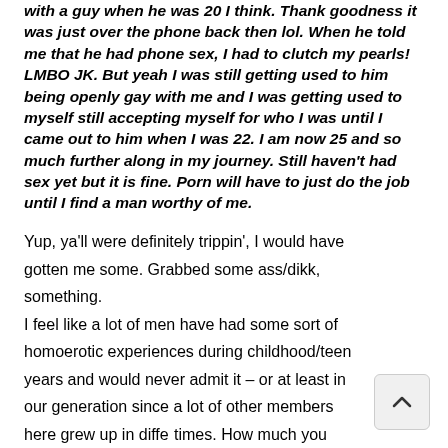with a guy when he was 20 I think. Thank goodness it was just over the phone back then lol. When he told me that he had phone sex, I had to clutch my pearls! LMBO JK. But yeah I was still getting used to him being openly gay with me and I was getting used to myself still accepting myself for who I was until I came out to him when I was 22. I am now 25 and so much further along in my journey. Still haven't had sex yet but it is fine. Porn will have to just do the job until I find a man worthy of me.
Yup, ya'll were definitely trippin', I would have gotten me some. Grabbed some ass/dikk, something. I feel like a lot of men have had some sort of homoerotic experiences during childhood/teen years and would never admit it – or at least in our generation since a lot of other members here grew up in different times. How much you wanna bet the actual